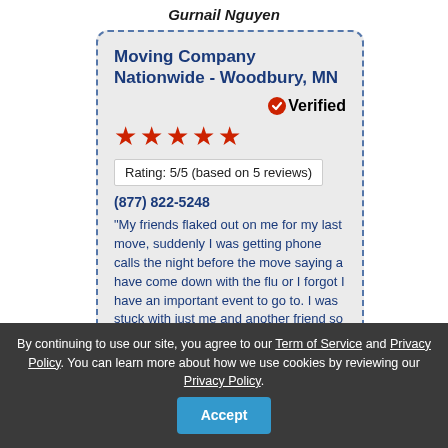Gurnail Nguyen
Moving Company Nationwide - Woodbury, MN
Verified
[Figure (other): Five red star rating icons]
Rating: 5/5 (based on 5 reviews)
(877) 822-5248
"My friends flaked out on me for my last move, suddenly I was getting phone calls the night before the move saying a have come down with the flu or I forgot I have an important event to go to. I was stuck with just me and another friend so I thought, to heck to doing this. I am hiring a moving company an opening with this lovely business
By continuing to use our site, you agree to our Term of Service and Privacy Policy. You can learn more about how we use cookies by reviewing our Privacy Policy.
Accept